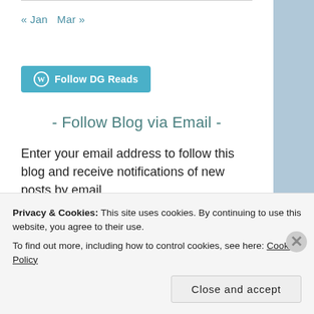« Jan   Mar »
[Figure (other): Follow DG Reads button with WordPress logo]
- Follow Blog via Email -
Enter your email address to follow this blog and receive notifications of new posts by email.
Enter your email address
Privacy & Cookies: This site uses cookies. By continuing to use this website, you agree to their use.
To find out more, including how to control cookies, see here: Cookie Policy
Close and accept